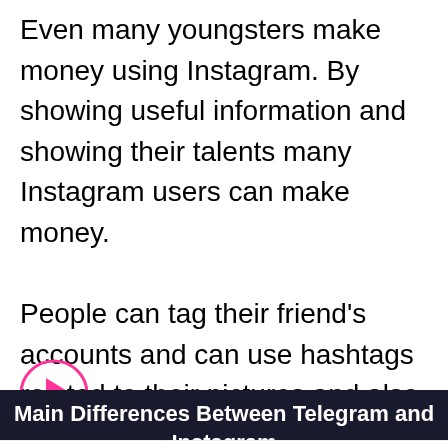Even many youngsters make money using Instagram. By showing useful information and showing their talents many Instagram users can make money.
People can tag their friend's accounts and can use hashtags related to their pictures and also can share the location.
[Figure (other): Pink circle play button icon]
Main Differences Between Telegram and Instagram
[Figure (other): Belk.com advertisement banner with logo, text, and navigation button]